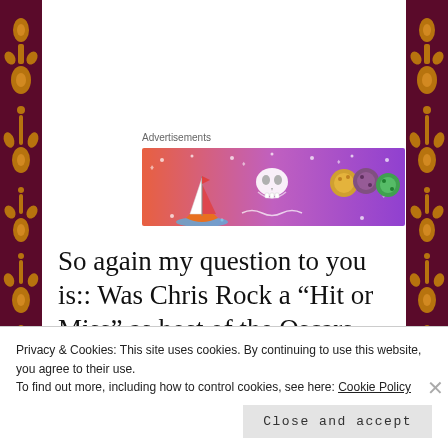[Figure (illustration): Advertisement banner with gradient background (pink to purple) featuring cartoon illustrations: a sailboat, skull, and colorful dice/orbs with decorative dots and symbols]
So again my question to you is:: Was Chris Rock a “Hit or Miss” as host of the Oscars last night? What’s your opinion? I’d like to know.
Privacy & Cookies: This site uses cookies. By continuing to use this website, you agree to their use. To find out more, including how to control cookies, see here: Cookie Policy